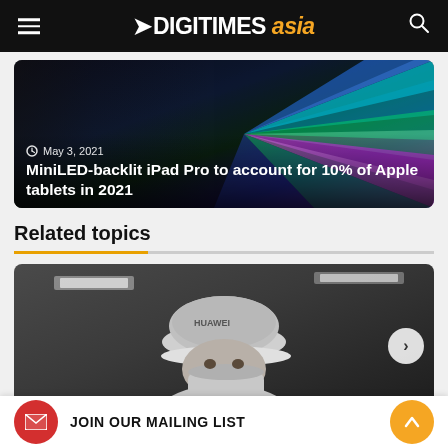DIGITIMES asia
[Figure (photo): Hero card showing colorful iPad Pro with MiniLED backlight display, dark background with colored light rays. Date: May 3, 2021. Title: MiniLED-backlit iPad Pro to account for 10% of Apple tablets in 2021]
MiniLED-backlit iPad Pro to account for 10% of Apple tablets in 2021
Related topics
[Figure (photo): Photo of a factory worker wearing a white uniform, cap, and face mask, working in an industrial environment. A Huawei logo is visible on the cap.]
JOIN OUR MAILING LIST